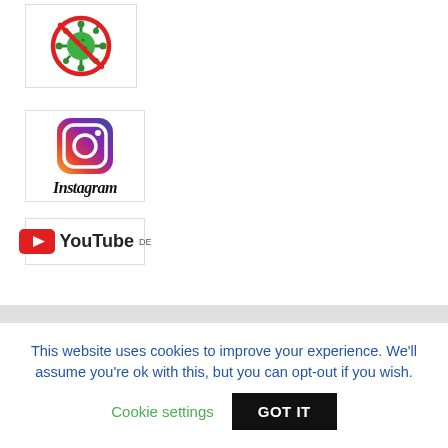[Figure (logo): Anti-coronavirus symbol: green virus with red prohibition circle and diagonal line through it]
[Figure (logo): Instagram logo: gradient camera icon and Instagram wordmark in script font]
[Figure (logo): YouTube DE logo: red play button icon with YouTube text and DE superscript]
This website uses cookies to improve your experience. We'll assume you're ok with this, but you can opt-out if you wish.
Cookie settings
GOT IT